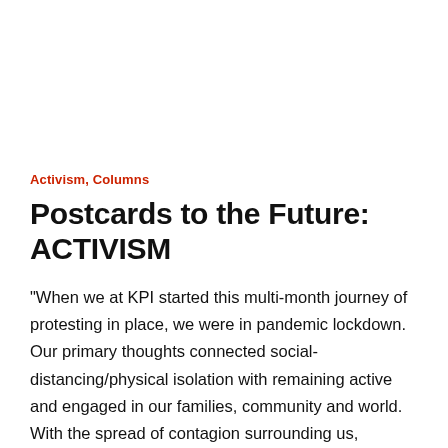Activism, Columns
Postcards to the Future: ACTIVISM
“When we at KPI started this multi-month journey of protesting in place, we were in pandemic lockdown. Our primary thoughts connected social-distancing/physical isolation with remaining active and engaged in our families, community and world. With the spread of contagion surrounding us, constricting our movements, we had to think differently to care for ourselves and others …